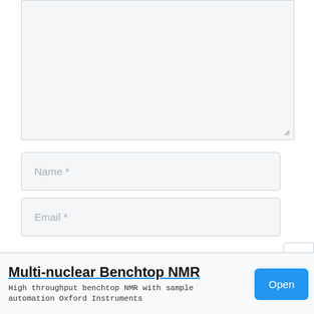[Figure (screenshot): Large empty textarea input box with light gray background and resize handle at bottom-right corner]
Name *
Email *
×
[Figure (screenshot): Advertisement banner for Multi-nuclear Benchtop NMR by Oxford Instruments with Open button]
Multi-nuclear Benchtop NMR
High throughput benchtop NMR with sample automation Oxford Instruments